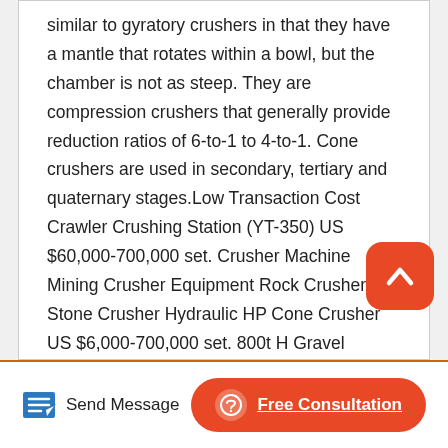similar to gyratory crushers in that they have a mantle that rotates within a bowl, but the chamber is not as steep. They are compression crushers that generally provide reduction ratios of 6-to-1 to 4-to-1. Cone crushers are used in secondary, tertiary and quaternary stages.Low Transaction Cost Crawler Crushing Station (YT-350) US $60,000-700,000 set. Crusher Machine Mining Crusher Equipment Rock Crusher Stone Crusher Hydraulic HP Cone Crusher US $6,000-700,000 set. 800t H Gravel Aggregate Processing System High Quality Sandstone Aggregate Production Line. US $100,000 Piece.
[Figure (other): Back to top button - orange rounded square with upward chevron arrow icon]
Send Message | Free Consultation